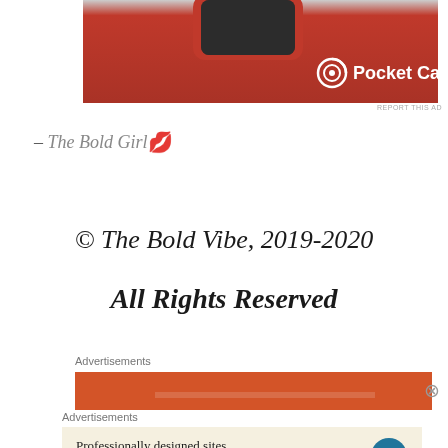[Figure (screenshot): Pocket Casts advertisement banner with red background and Pocket Casts logo]
– The Bold Girl 💋
© The Bold Vibe, 2019-2020
All Rights Reserved
Advertisements
[Figure (screenshot): Orange/red advertisement banner, partially visible]
Advertisements
[Figure (screenshot): WordPress advertisement: Professionally designed sites in less than a week, with WordPress logo]